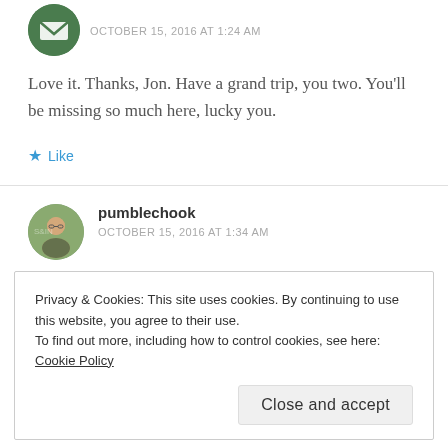OCTOBER 15, 2016 AT 1:24 AM
Love it. Thanks, Jon. Have a grand trip, you two. You'll be missing so much here, lucky you.
★ Like
pumblechook
OCTOBER 15, 2016 AT 1:34 AM
Privacy & Cookies: This site uses cookies. By continuing to use this website, you agree to their use.
To find out more, including how to control cookies, see here: Cookie Policy
Close and accept